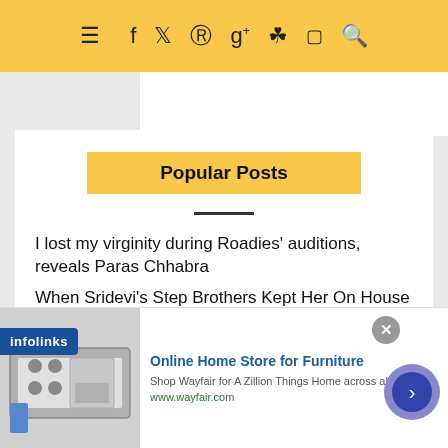☰ f 🐦 ℗ g+ 📷 ▶ 🔍
Popular Posts
I lost my virginity during Roadies' auditions, reveals Paras Chhabra
When Sridevi's Step Brothers Kept Her On House Arrest For The Sake Of Her Property
How Raya's $8/month dating app turned
[Figure (screenshot): Wayfair advertisement banner: Online Home Store for Furniture, Shop Wayfair for A Zillion Things Home across all styles, www.wayfair.com, with appliance image and navigation arrow]